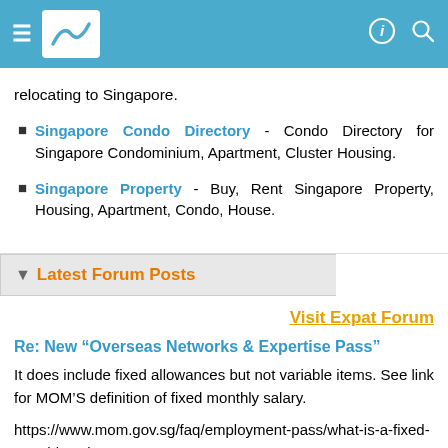Navigation bar with hamburger menu, logo, and icons
relocating to Singapore.
Singapore Condo Directory - Condo Directory for Singapore Condominium, Apartment, Cluster Housing.
Singapore Property - Buy, Rent Singapore Property, Housing, Apartment, Condo, House.
▼ Latest Forum Posts
Visit Expat Forum
Re: New “Overseas Networks & Expertise Pass”
It does include fixed allowances but not variable items. See link for MOM’S definition of fixed monthly salary.
https://www.mom.gov.sg/faq/employment-pass/what-is-a-fixed-monthly-salary